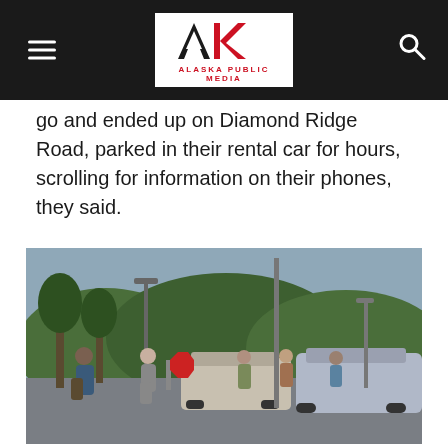Alaska Public Media
go and ended up on Diamond Ridge Road, parked in their rental car for hours, scrolling for information on their phones, they said.
[Figure (photo): People standing in a parking lot near cars in dim evening light, with green hills in the background. Several individuals are gathered around vehicles on what appears to be a paved lot.]